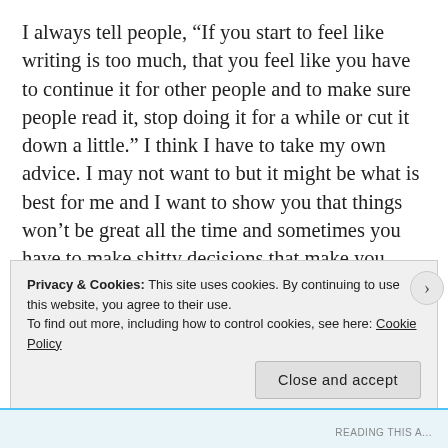I always tell people, “If you start to feel like writing is too much, that you feel like you have to continue it for other people and to make sure people read it, stop doing it for a while or cut it down a little.” I think I have to take my own advice. I may not want to but it might be what is best for me and I want to show you that things won’t be great all the time and sometimes you have to make shitty decisions that make you unhappy but that might make things more bearable in the future.
I have too much to say and so that’s why this is so
Privacy & Cookies: This site uses cookies. By continuing to use this website, you agree to their use.
To find out more, including how to control cookies, see here: Cookie Policy
Close and accept